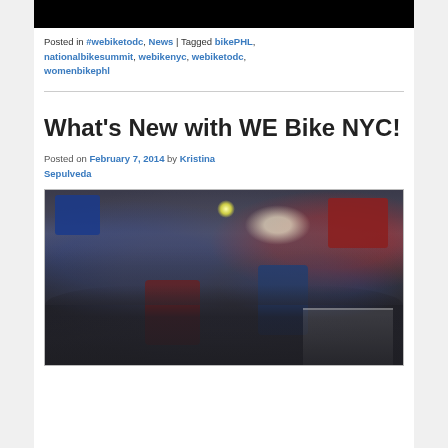[Figure (photo): Black bar at top of page (top of an image cropped)]
Posted in #webiketodc, News | Tagged bikePHL, nationalbikesummit, webikenyc, webiketodc, womenbikephl
What's New with WE Bike NYC!
Posted on February 7, 2014 by Kristina Sepulveda
[Figure (photo): Group photo of people at a WE Bike NYC event, inside a bike shop or community space. People are gathered together smiling, with blue and red WE Bike NYC banners/flags visible.]